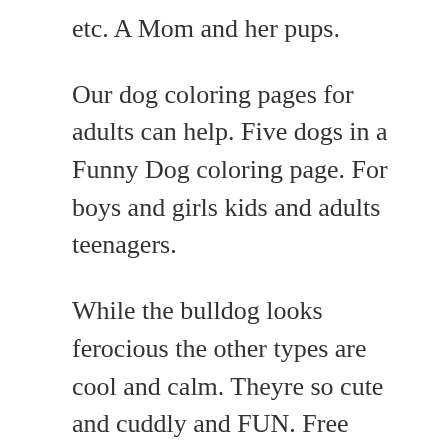etc. A Mom and her pups.
Our dog coloring pages for adults can help. Five dogs in a Funny Dog coloring page. For boys and girls kids and adults teenagers.
While the bulldog looks ferocious the other types are cool and calm. Theyre so cute and cuddly and FUN. Free Printable Dog Coloring Pages Scroll down the page to see all of our printable dog pictures.
Dog walking on a leash. You can use these tips to create gorgeous art out of a coloring book or